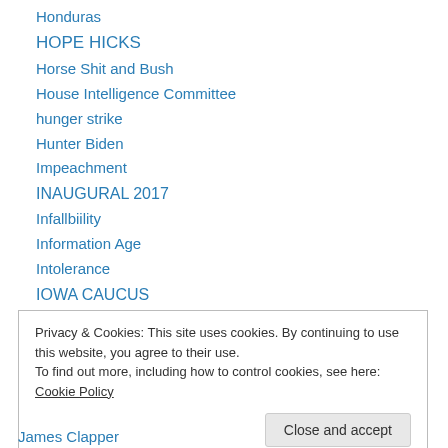Honduras
HOPE HICKS
Horse Shit and Bush
House Intelligence Committee
hunger strike
Hunter Biden
Impeachment
INAUGURAL 2017
Infallbiility
Information Age
Intolerance
IOWA CAUCUS
Iran
Privacy & Cookies: This site uses cookies. By continuing to use this website, you agree to their use.
To find out more, including how to control cookies, see here: Cookie Policy
James Clapper